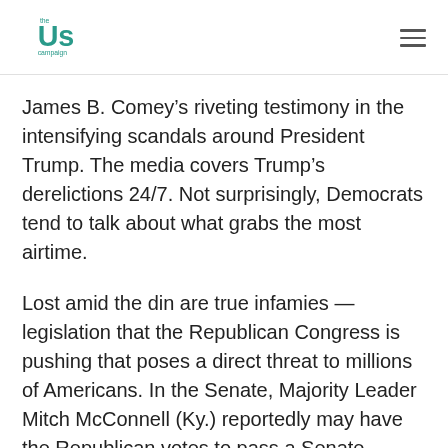The Us Campaign
James B. Comey’s riveting testimony in the intensifying scandals around President Trump. The media covers Trump’s derelictions 24/7. Not surprisingly, Democrats tend to talk about what grabs the most airtime.
Lost amid the din are true infamies — legislation that the Republican Congress is pushing that poses a direct threat to millions of Americans. In the Senate, Majority Leader Mitch McConnell (Ky.) reportedly may have the Republican votes to pass a Senate replacement for Obamacare. House Republicans just passed sweeping bank deregulation. While the media fixates on Trump, Republicans are rushing through legislation that